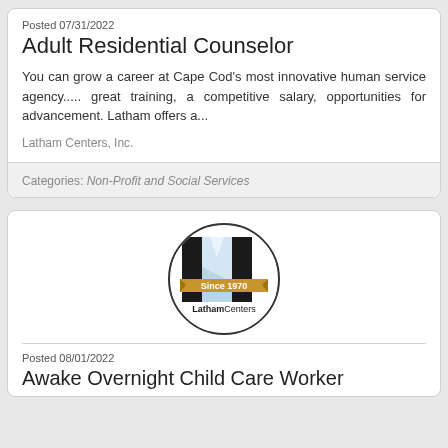Posted 07/31/2022
Adult Residential Counselor
You can grow a career at Cape Cod's most innovative human service agency..... great training, a competitive salary, opportunities for advancement. Latham offers a...
Latham Centers, Inc.
Categories: Non-Profit and Social Services
[Figure (logo): Latham Centers logo inside a circle — black door frame with light blue sky background, gold banner reading 'Since 1970', text 'LathamCenters' below]
Posted 08/01/2022
Awake Overnight Child Care Worker